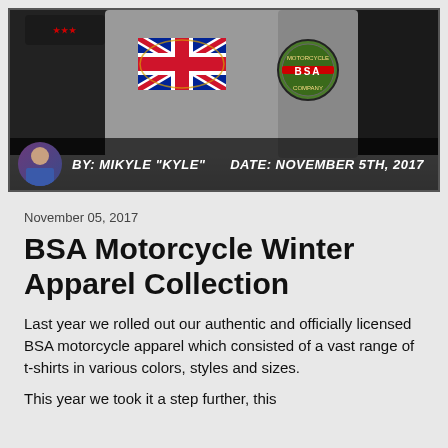[Figure (photo): Header image showing BSA motorcycle hoodies — grey hoodie with Union Jack flag graphic in center, dark hoodies on sides, one with BSA logo. Author bar at bottom shows avatar photo of Mikyle Kyle, text BY: MIKYLE "KYLE" and DATE: NOVEMBER 5TH, 2017]
November 05, 2017
BSA Motorcycle Winter Apparel Collection
Last year we rolled out our authentic and officially licensed BSA motorcycle apparel which consisted of a vast range of t-shirts in various colors, styles and sizes.
This...